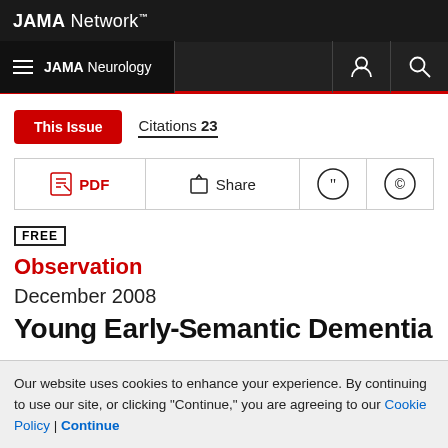JAMA Network
JAMA Neurology
This Issue  Citations 23
PDF  Share
FREE
Observation
December 2008
Your Early-Semantic Dementia
Our website uses cookies to enhance your experience. By continuing to use our site, or clicking "Continue," you are agreeing to our Cookie Policy | Continue